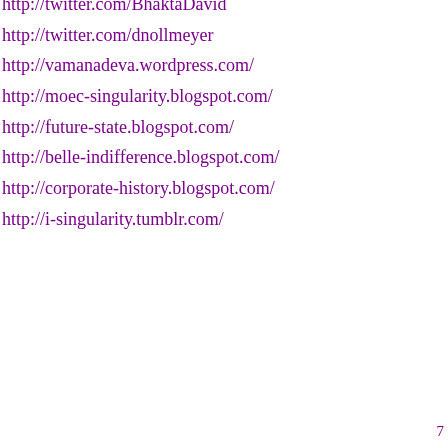http://twitter.com/BhaktaDavid
http://twitter.com/dnollmeyer
http://vamanadeva.wordpress.com/
http://moec-singularity.blogspot.com/
http://future-state.blogspot.com/
http://belle-indifference.blogspot.com/
http://corporate-history.blogspot.com/
http://i-singularity.tumblr.com/
7